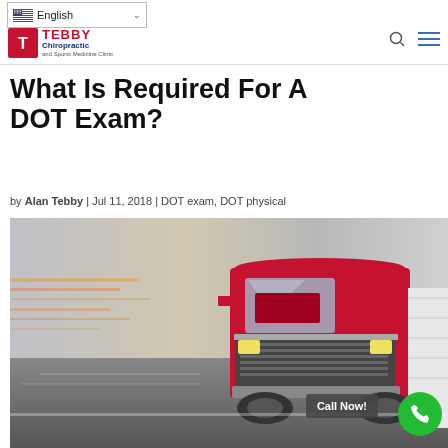English | Tebby Chiropractic and Sports Medicine Clinic
What Is Required For A DOT Exam?
by Alan Tebby | Jul 11, 2018 | DOT exam, DOT physical
[Figure (photo): A red semi-truck with trailer driving at high speed on a highway, motion blur in the background]